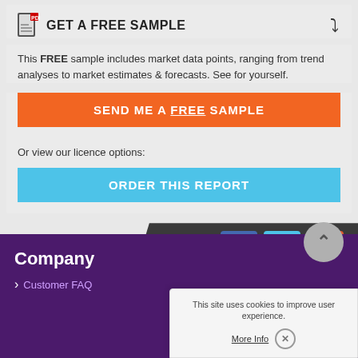GET A FREE SAMPLE
This FREE sample includes market data points, ranging from trend analyses to market estimates & forecasts. See for yourself.
SEND ME A FREE SAMPLE
Or view our licence options:
ORDER THIS REPORT
Follow us
Company
Customer FAQ
This site uses cookies to improve user experience.
More Info